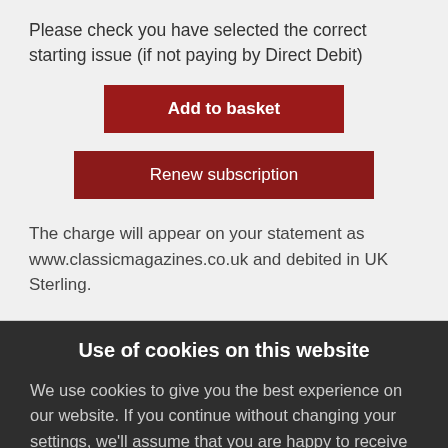Please check you have selected the correct starting issue (if not paying by Direct Debit)
Add to basket
Renew subscription
The charge will appear on your statement as www.classicmagazines.co.uk and debited in UK Sterling.
Use of cookies on this website
We use cookies to give you the best experience on our website. If you continue without changing your settings, we'll assume that you are happy to receive all cookies from this website